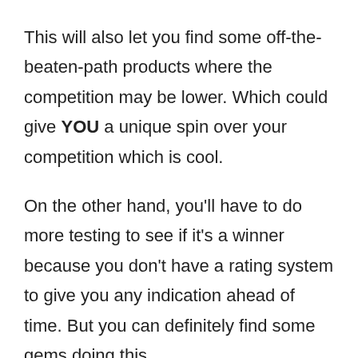This will also let you find some off-the-beaten-path products where the competition may be lower. Which could give YOU a unique spin over your competition which is cool.
On the other hand, you'll have to do more testing to see if it's a winner because you don't have a rating system to give you any indication ahead of time. But you can definitely find some gems doing this.